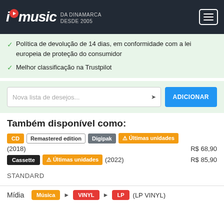imusic DA DINAMARCA DESDE 2005
Política de devolução de 14 dias, em conformidade com a lei europeia de proteção do consumidor
Melhor classificação na Trustpilot
Nova lista de desejos... ADICIONAR
Também disponível como:
CD Remastered edition Digipak ⚠ Últimas unidades (2018) R$ 68,90
Cassette ⚠ Últimas unidades (2022) R$ 85,90
STANDARD
Mídia Música ▶ VINYL ▶ LP (LP VINYL)